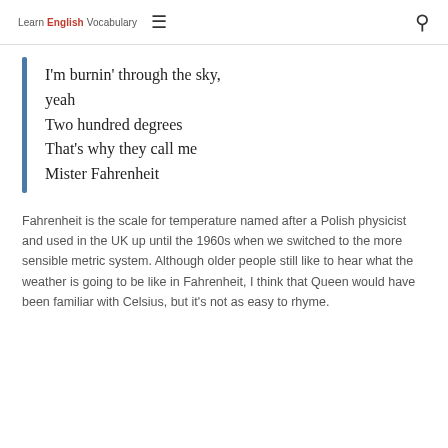Learn English Vocabulary
I'm burnin' through the sky, yeah
Two hundred degrees
That's why they call me Mister Fahrenheit
Fahrenheit is the scale for temperature named after a Polish physicist and used in the UK up until the 1960s when we switched to the more sensible metric system. Although older people still like to hear what the weather is going to be like in Fahrenheit, I think that Queen would have been familiar with Celsius, but it's not as easy to rhyme.